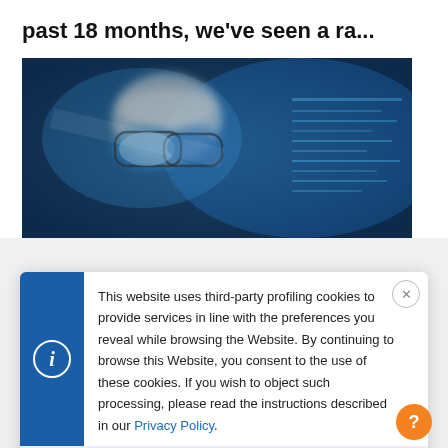past 18 months, we've seen a ra...
[Figure (photo): Close-up blurred photo of a person looking at computer screens showing code, reflected in glasses lenses, blue-toned]
This website uses third-party profiling cookies to provide services in line with the preferences you reveal while browsing the Website. By continuing to browse this Website, you consent to the use of these cookies. If you wish to object such processing, please read the instructions described in our Privacy Policy.
I understand